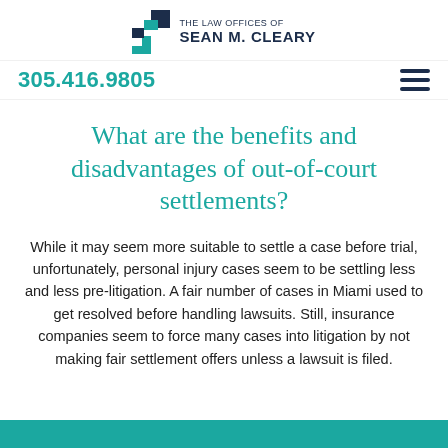[Figure (logo): The Law Offices of Sean M. Cleary logo with teal and navy S-shaped icon]
305.416.9805
What are the benefits and disadvantages of out-of-court settlements?
While it may seem more suitable to settle a case before trial, unfortunately, personal injury cases seem to be settling less and less pre-litigation. A fair number of cases in Miami used to get resolved before handling lawsuits. Still, insurance companies seem to force many cases into litigation by not making fair settlement offers unless a lawsuit is filed.